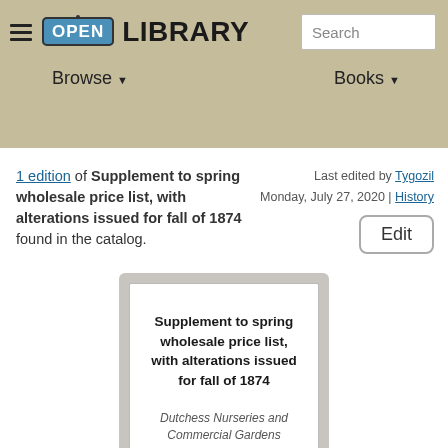Open Library — Browse | Books | Search
1 edition of Supplement to spring wholesale price list, with alterations issued for fall of 1874 found in the catalog.
Last edited by Tygozil Monday, July 27, 2020 | History
[Figure (illustration): Book cover card showing title: Supplement to spring wholesale price list, with alterations issued for fall of 1874 by Dutchess Nurseries and Commercial Gardens]